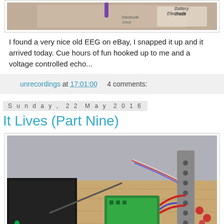[Figure (photo): Top portion of an old EEG device showing labels 'Electrode' and 'Battery check', with a purple pen/stylus visible]
I found a very nice old EEG on eBay, I snapped it up and it arrived today. Cue hours of fun hooked up to me and a voltage controlled echo...
unrecordings at 17:01:00    4 comments:
Sunday, 22 May 2016
It Lives (Part Nine)
[Figure (photo): Electronic hardware project on a wooden workbench: a black metal enclosure on the left, a green PCB board in the center, a metal bracket/panel with holes and wires (red, blue, twisted pair) on the right, various cables and connectors visible]